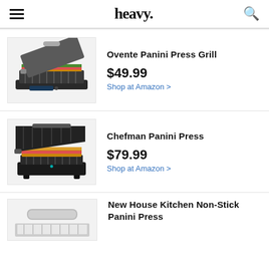heavy.
Ovente Panini Press Grill
$49.99 Shop at Amazon >
Chefman Panini Press
$79.99 Shop at Amazon >
New House Kitchen Non-Stick Panini Press